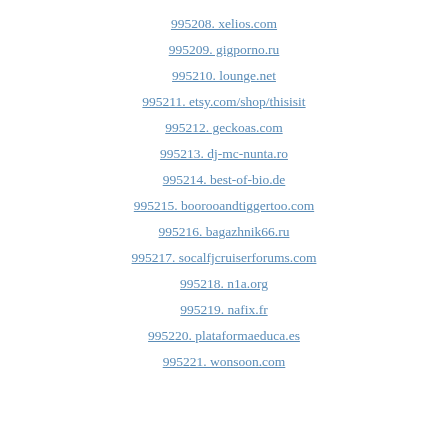995208. xelios.com
995209. gigporno.ru
995210. lounge.net
995211. etsy.com/shop/thisisit
995212. geckoas.com
995213. dj-mc-nunta.ro
995214. best-of-bio.de
995215. boorooandtiggertoo.com
995216. bagazhnik66.ru
995217. socalfjcruiserforums.com
995218. n1a.org
995219. nafix.fr
995220. plataformaeduca.es
995221. wonsoon.com